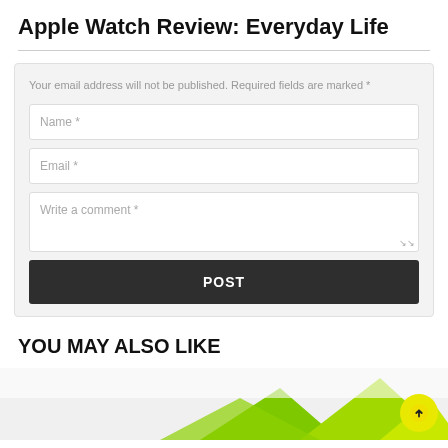Apple Watch Review: Everyday Life
Your email address will not be published. Required fields are marked *
Name *
Email *
Write a comment *
POST
YOU MAY ALSO LIKE
[Figure (photo): Partially visible image strip at the bottom of the page showing green shapes on a light background, with a yellow circular back-to-top arrow button on the right side.]